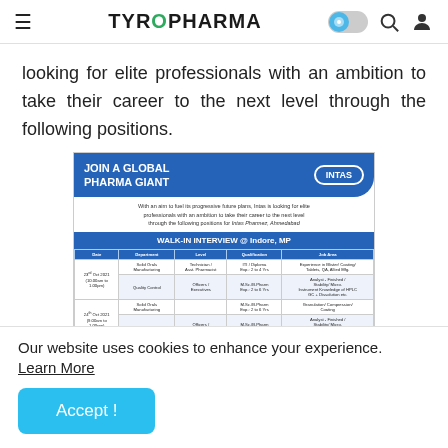TYROPHARMA
looking for elite professionals with an ambition to take their career to the next level through the following positions.
[Figure (screenshot): Screenshot of an Intas Pharma walk-in interview advertisement showing job openings at Indore, MP with a table of dates, departments, levels, qualifications, and job areas.]
Our website uses cookies to enhance your experience. Learn More
Accept !